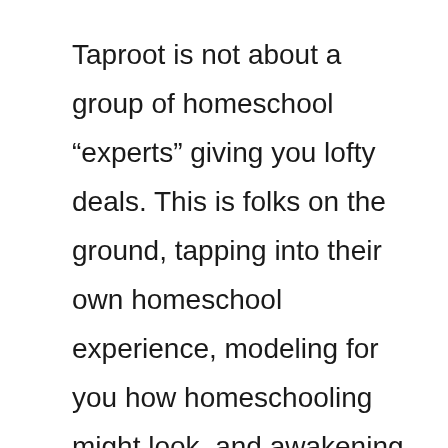Taproot is not about a group of homeschool “experts” giving you lofty deals. This is folks on the ground, tapping into their own homeschool experience, modeling for you how homeschooling might look, and awakening ideas for you to blossom into.
This year’s theme is Standing Like a Tree to help ground us and while we branch out. The LIVE weekend is a time